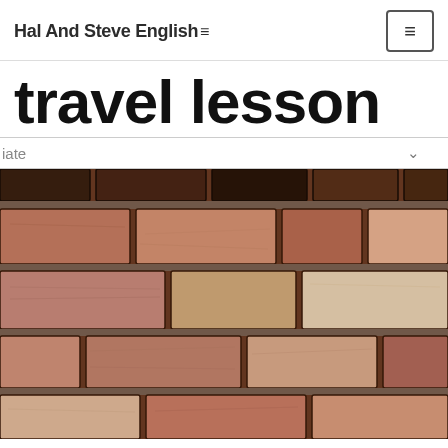Hal And Steve English ≡
travel lesson
iate ∨
[Figure (photo): Close-up photograph of an old rustic brick wall with irregular, worn bricks in shades of red, brown, tan, and gray, with dark mortar between them.]